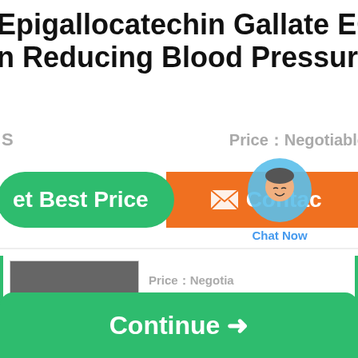Epigallocatechin Gallate EGCG in Reducing Blood Pressure
S   Price：Negotiable
[Figure (screenshot): Green 'Get Best Price' button and orange 'Contact' button with chat overlay showing 'Chat Now']
[Figure (screenshot): Product card with blurred image and Price：Negotiable text]
Continue →